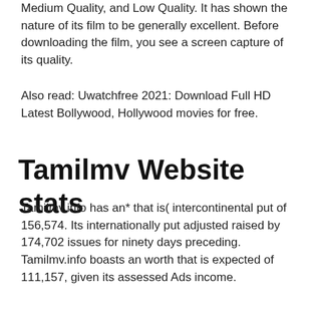Medium Quality, and Low Quality. It has shown the nature of its film to be generally excellent. Before downloading the film, you see a screen capture of its quality.
Also read: Uwatchfree 2021: Download Full HD Latest Bollywood, Hollywood movies for free.
Tamilmv Website stats
Tamilmv.info has an* that is( intercontinental put of 156,574. Its internationally put adjusted raised by 174,702 issues for ninety days preceding. Tamilmv.info boasts an worth that is expected of 111,157, given its assessed Ads income.